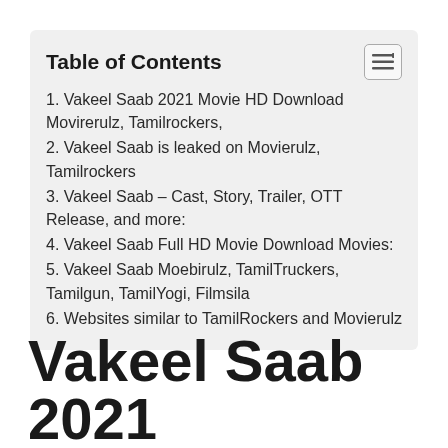Table of Contents
1. Vakeel Saab 2021 Movie HD Download Movirerulz, Tamilrockers,
2. Vakeel Saab is leaked on Movierulz, Tamilrockers
3. Vakeel Saab – Cast, Story, Trailer, OTT Release, and more:
4. Vakeel Saab Full HD Movie Download Movies:
5. Vakeel Saab Moebirulz, TamilTruckers, Tamilgun, TamilYogi, Filmsila
6. Websites similar to TamilRockers and Movierulz
Vakeel Saab 2021